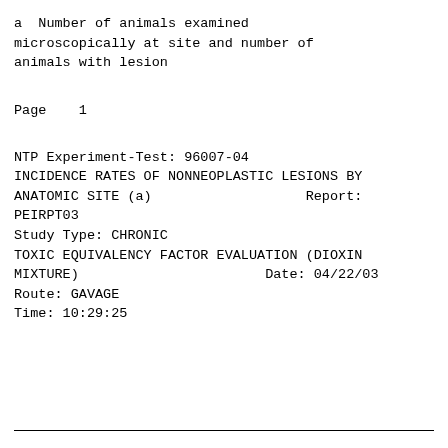a  Number of animals examined microscopically at site and number of animals with lesion
Page    1
NTP Experiment-Test: 96007-04
INCIDENCE RATES OF NONNEOPLASTIC LESIONS BY ANATOMIC SITE (a)                    Report: PEIRPT03
Study Type: CHRONIC
TOXIC EQUIVALENCY FACTOR EVALUATION (DIOXIN MIXTURE)                         Date: 04/22/03
Route: GAVAGE
Time: 10:29:25